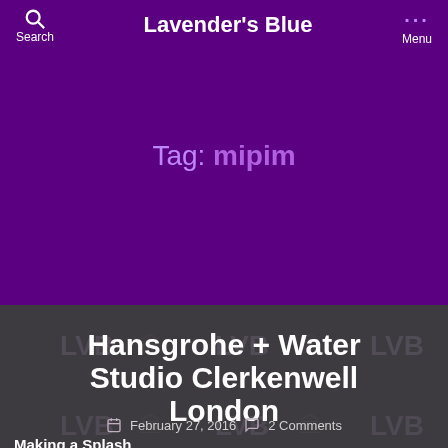Lavender's Blue
Tag: mipim
Hansgrohe + Water Studio Clerkenwell London
February 27, 2016   2 Comments
Making a Splash